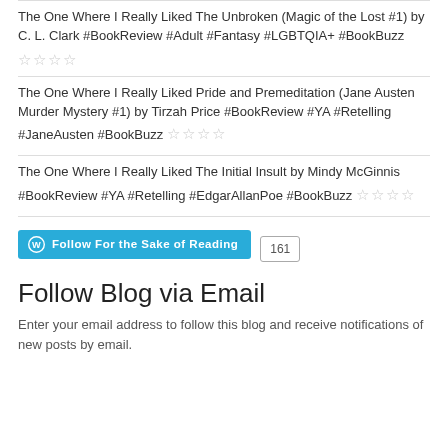The One Where I Really Liked The Unbroken (Magic of the Lost #1) by C. L. Clark #BookReview #Adult #Fantasy #LGBTQIA+ #BookBuzz ☆☆☆☆
The One Where I Really Liked Pride and Premeditation (Jane Austen Murder Mystery #1) by Tirzah Price #BookReview #YA #Retelling #JaneAusten #BookBuzz ☆☆☆☆
The One Where I Really Liked The Initial Insult by Mindy McGinnis #BookReview #YA #Retelling #EdgarAllanPoe #BookBuzz ☆☆☆☆
[Figure (other): WordPress Follow button for 'For the Sake of Reading' blog with 161 followers count badge]
Follow Blog via Email
Enter your email address to follow this blog and receive notifications of new posts by email.